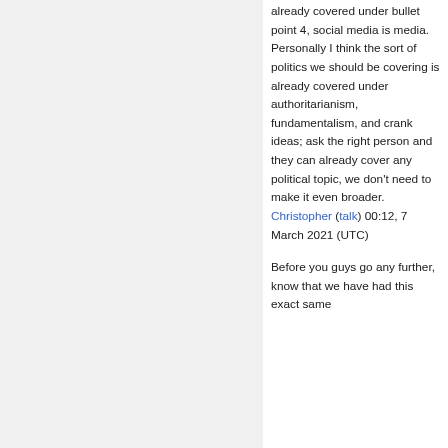already covered under bullet point 4, social media is media. Personally I think the sort of politics we should be covering is already covered under authoritarianism, fundamentalism, and crank ideas; ask the right person and they can already cover any political topic, we don't need to make it even broader. Christopher (talk) 00:12, 7 March 2021 (UTC)
Before you guys go any further, know that we have had this exact same